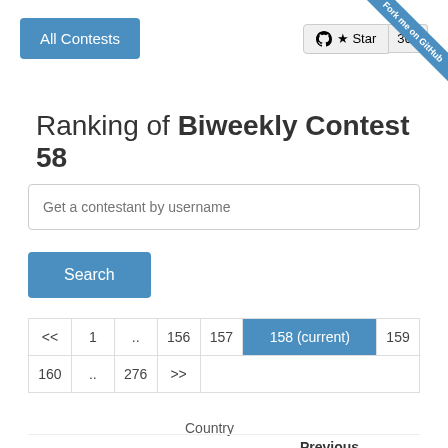All Contests
Ranking of Biweekly Contest 58
Get a contestant by username
Search
| << | 1 | .. | 156 | 157 | 158 (current) | 159 |
| --- | --- | --- | --- | --- | --- | --- |
| 160 | .. | 276 | >> |  |  |  |
Country
All
| # | Username | Rank | Previous rating |  |
| --- | --- | --- | --- | --- |